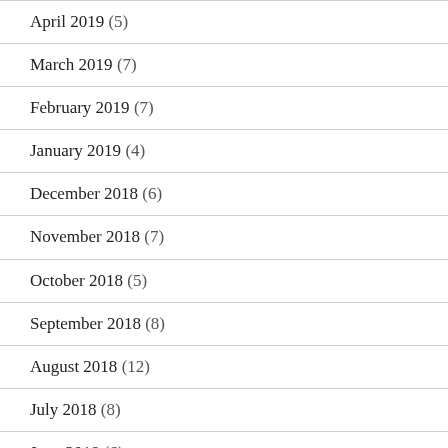April 2019 (5)
March 2019 (7)
February 2019 (7)
January 2019 (4)
December 2018 (6)
November 2018 (7)
October 2018 (5)
September 2018 (8)
August 2018 (12)
July 2018 (8)
June 2018 (6)